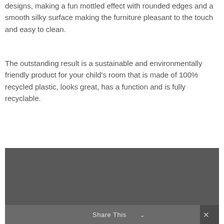designs, making a fun mottled effect with rounded edges and a smooth silky surface making the furniture pleasant to the touch and easy to clean.
The outstanding result is a sustainable and environmentally friendly product for your child's room that is made of 100% recycled plastic, looks great, has a function and is fully recyclable.
[Figure (photo): Dark grey background photo partially visible, showing the top portion of a blue/teal rounded object at the bottom, with a share bar overlay at the bottom showing 'Share This' with a chevron and an X button.]